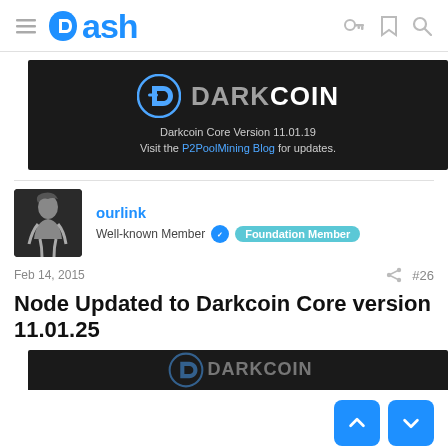Dash
[Figure (screenshot): Darkcoin banner advertisement showing DARKCOIN logo, text: Darkcoin Core Version 11.01.19, Visit the P2PoolMining Blog for updates.]
ourlink
Well-known Member  Foundation Member
Feb 14, 2015  #26
Node Updated to Darkcoin Core version 11.01.25
[Figure (screenshot): Partial Darkcoin banner advertisement at bottom of page.]